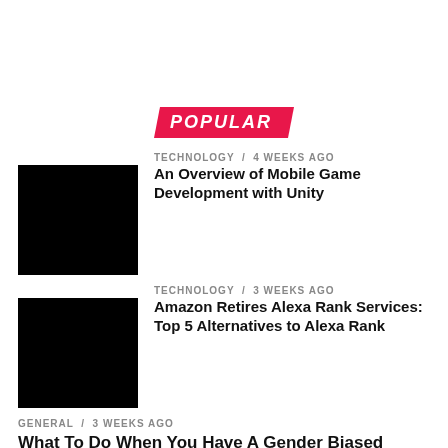POPULAR
TECHNOLOGY / 4 weeks ago
An Overview of Mobile Game Development with Unity
TECHNOLOGY / 3 weeks ago
Amazon Retires Alexa Rank Services: Top 5 Alternatives to Alexa Rank
GENERAL / 3 weeks ago
What To Do When You Have A Gender Biased Unfair Performance Review At Work
TECHNOLOGY / 3 weeks ago
Why Do CEOs of Today's Businesses Need to